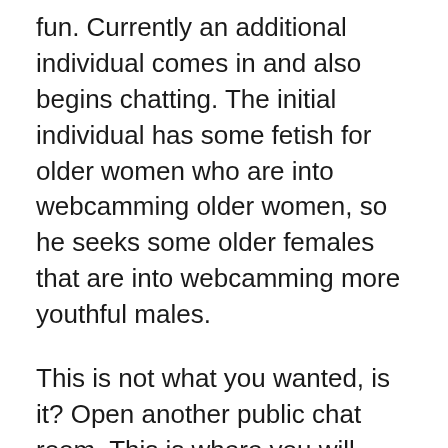fun. Currently an additional individual comes in and also begins chatting. The initial individual has some fetish for older women who are into webcamming older women, so he seeks some older females that are into webcamming more youthful males.
This is not what you wanted, is it? Open another public chat room. This is where you will discover webcam girls in real life. The initial genuine cam woman comes as well as starts talking with this guy. She begins telling him about her cam porn movies, she likes the method her boobs look when she puts on the boob tube tops. She begins informing him concerning her private chatroom.
Once on the chatroom, ...